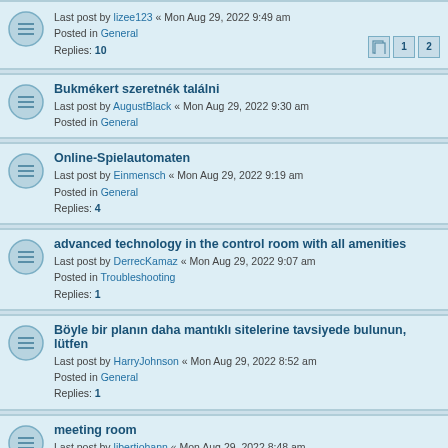Last post by lizee123 « Mon Aug 29, 2022 9:49 am
Posted in General
Replies: 10
Bukmékert szeretnék találni
Last post by AugustBlack « Mon Aug 29, 2022 9:30 am
Posted in General
Online-Spielautomaten
Last post by Einmensch « Mon Aug 29, 2022 9:19 am
Posted in General
Replies: 4
advanced technology in the control room with all amenities
Last post by DerrecKamaz « Mon Aug 29, 2022 9:07 am
Posted in Troubleshooting
Replies: 1
Böyle bir planın daha mantıklı sitelerine tavsiyede bulunun, lütfen
Last post by HarryJohnson « Mon Aug 29, 2022 8:52 am
Posted in General
Replies: 1
meeting room
Last post by libertjohann « Mon Aug 29, 2022 8:48 am
Posted in General
Replies: 2
Takes keyboard + mouse as input, touch controllers not recognized
Last post by libertjohann « Mon Aug 29, 2022 8:11 am
Posted in Troubleshooting
Replies: 6
I want to build my own startup